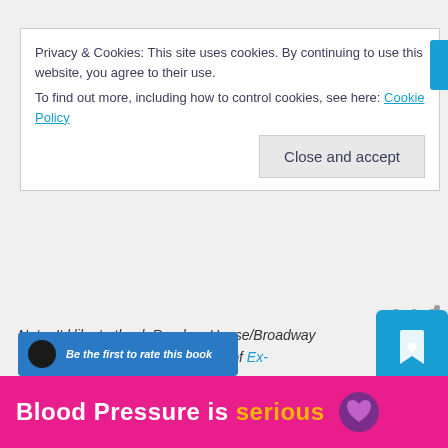Privacy & Cookies: This site uses cookies. By continuing to use this website, you agree to their use. To find out more, including how to control cookies, see here: Cookie Policy
Close and accept
Note: I'd like to thank Random House/Broadway Books for providing a review copy of Ex-Communication.
[Figure (screenshot): Blue Goodreads bookmark/wishlist widget with heart icon]
[Figure (screenshot): Share button - circular white button with share icon]
[Figure (screenshot): Blue button partially visible at bottom of page]
[Figure (screenshot): Ad banner: Blood Pressure is serious with pink/magenta background and purple heart emoji]